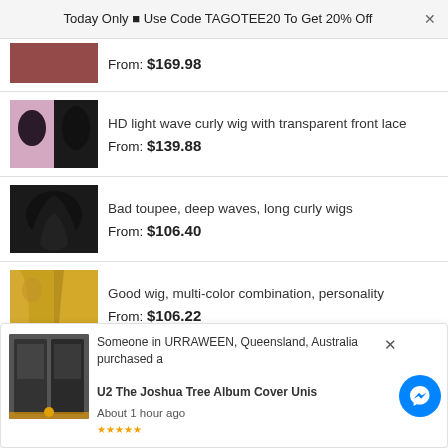Today Only ■ Use Code TAGOTEE20 To Get 20% Off
From: $169.98
HD light wave curly wig with transparent front lace
From: $139.88
Bad toupee, deep waves, long curly wigs
From: $106.40
Good wig, multi-color combination, personality
From: $106.22
Someone in URRAWEEN, Queensland, Australia purchased a
U2 The Joshua Tree Album Cover Unis
About 1 hour ago